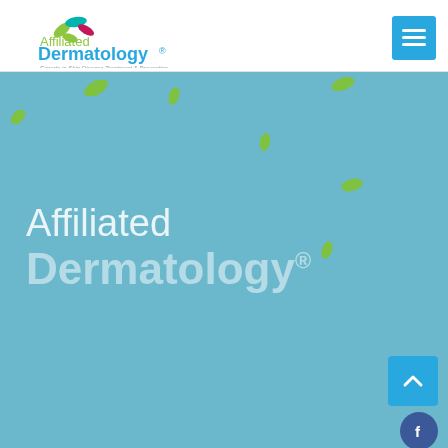[Figure (logo): Affiliated Dermatology logo with colorful leaf/butterfly icon, green text 'Affiliated', blue text 'Dermatology®', tagline 'Experts in Skin Disease Treatment & Prevention']
[Figure (screenshot): Hero section with light blue background, floating green leaves, large text 'Affiliated' and bold 'Dermatology®' in white/light color overlay. Right sidebar has a scroll-up button in cyan, and social media icons: Facebook, Twitter, YouTube, Pinterest, LinkedIn, Instagram.]